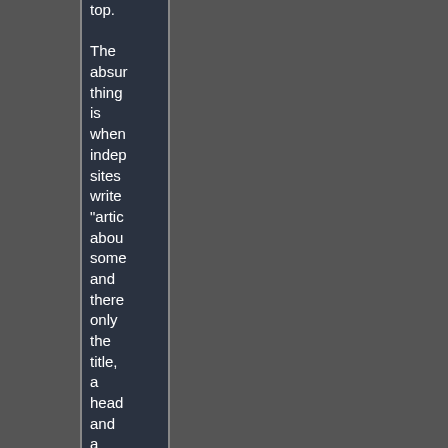top. The absurd thing is when independent sites write "articles" about something and there's only the title, a headline and a window with a youtube or proprietary player video...